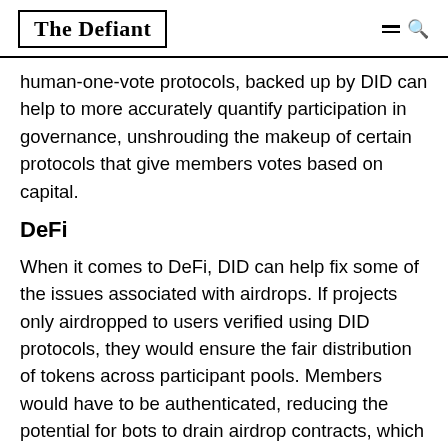The Defiant
human-one-vote protocols, backed up by DID can help to more accurately quantify participation in governance, unshrouding the makeup of certain protocols that give members votes based on capital.
DeFi
When it comes to DeFi, DID can help fix some of the issues associated with airdrops. If projects only airdropped to users verified using DID protocols, they would ensure the fair distribution of tokens across participant pools. Members would have to be authenticated, reducing the potential for bots to drain airdrop contracts, which is a pressing issue for some in the DeFi space.